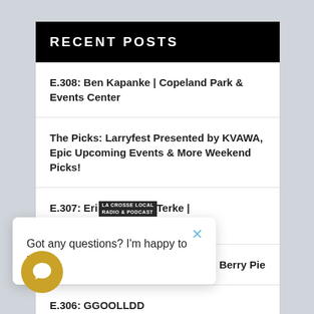RECENT POSTS
E.308: Ben Kapanke | Copeland Park & Events Center
The Picks: Larryfest Presented by KVAWA, Epic Upcoming Events & More Weekend Picks!
E.307: Eric Berke | Painter/Drummer
E.305: Stockholm Pie & Berry Pie
E.306: GGOOLLDD
E.305: Tommy Prine & Andy Hughes
Got any questions? I'm happy to help.